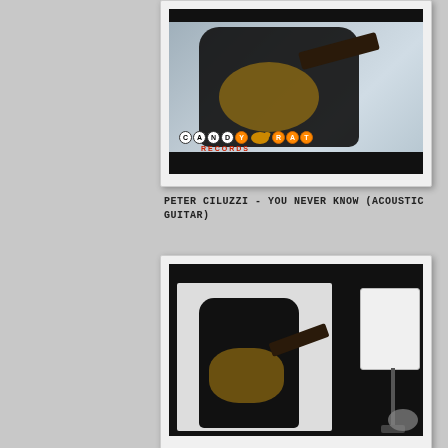[Figure (photo): Video thumbnail showing a man playing an acoustic guitar, wearing black, with Candyrat Records logo overlay on a grey/white background with black borders top and bottom]
PETER CILUZZI - YOU NEVER KNOW (ACOUSTIC GUITAR)
[Figure (photo): Video thumbnail showing a man in black playing acoustic guitar against a white background with a studio light/softbox visible on the right side]